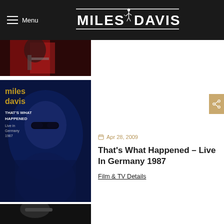Menu | MILES DAVIS
[Figure (photo): Partial view of Miles Davis in red jacket playing trumpet]
[Figure (photo): Miles Davis album cover – That's What Happened, Live in Germany 1987, blue-toned portrait with sunglasses]
Apr 28, 2009
That's What Happened – Live In Germany 1987
Film & TV Details
[Figure (photo): Black and white photo of Miles Davis playing trumpet]